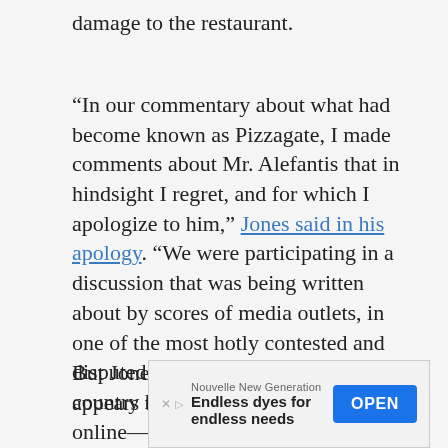damage to the restaurant.
“In our commentary about what had become known as Pizzagate, I made comments about Mr. Alefantis that in hindsight I regret, and for which I apologize to him,” Jones said in his apology. “We were participating in a discussion that was being written about by scores of media outlets, in one of the most hotly contested and disputed political environments our country has ever seen.”
But Jones’s rare act of contrition appears to had little impact on the online—and sometimes
[Figure (other): Advertisement banner: Nouvelle New Generation - Endless dyes for endless needs - OPEN button]